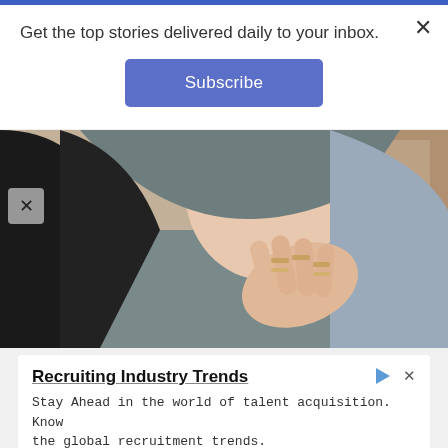Get the top stories delivered daily to your inbox.
Subscribe
[Figure (photo): Woman in gray long-sleeve top placing hand on chest]
Recruiting Industry Trends
Stay Ahead in the world of talent acquisition. Know the global recruitment trends.
RChilli Inc
Open